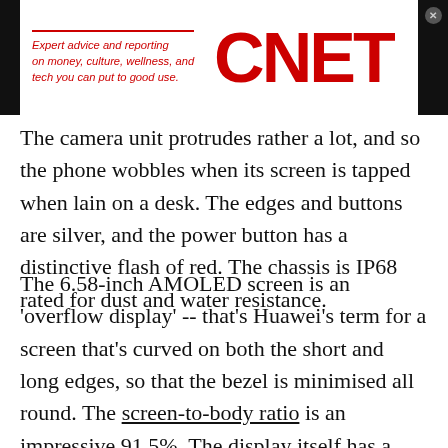[Figure (logo): CNET logo banner with tagline 'Expert advice and reporting on money, culture, wellness, and tech you can put to good use.' in red, and large red CNET wordmark on white background with black side panels.]
The camera unit protrudes rather a lot, and so the phone wobbles when its screen is tapped when lain on a desk. The edges and buttons are silver, and the power button has a distinctive flash of red. The chassis is IP68 rated for dust and water resistance.
The 6.58-inch AMOLED screen is an 'overflow display' -- that's Huawei's term for a screen that's curved on both the short and long edges, so that the bezel is minimised all round. The screen-to-body ratio is an impressive 91.5%. The display itself has a 90Hz refresh rate and is sharp, bright and vibrant. There's a fingerprint scanner embedded in the...